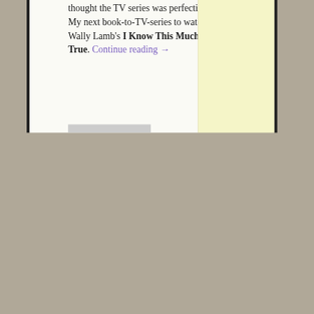thought the TV series was perfection. My next book-to-TV-series to watch is Wally Lamb's I Know This Much is True. Continue reading →
35 Comments
October 25, 2019
IT'S ALL HAPPENING IN NOVEMBER
Posted by Kate W in Fiction, Non-fiction and tagged with Anna Krien, Anna Spargo-Ryan, Australian, Bernhard Schlink, Dianne Touchell
Follow Blog via Email
Enter your email address to follow this blog and receive notifications of new posts by email.
Email Ad
F
oll